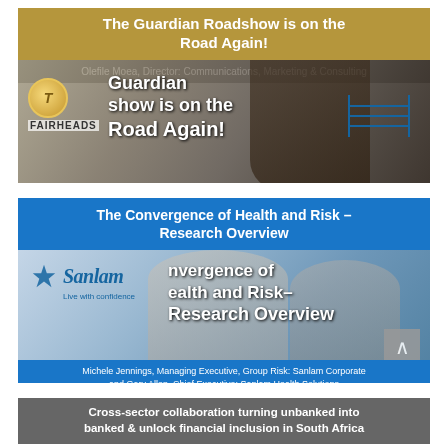[Figure (infographic): Fairheads Guardian Roadshow banner with header 'The Guardian Roadshow is on the Road Again!', showing Fairheads logo and portrait of Olefile Moea, Director: Communications, Marketing & Consulting]
Olefile Moea, Director: Communications, Marketing & Consulting
[Figure (infographic): Sanlam banner 'The Convergence of Health and Risk – Research Overview' with Sanlam logo and portraits of Michele Jennings and Gary Allen]
Michele Jennings, Managing Executive, Group Risk: Sanlam Corporate and Gary Allen, Chief Executive: Sanlam Health Solutions
Cross-sector collaboration turning unbanked into banked & unlock financial inclusion in South Africa